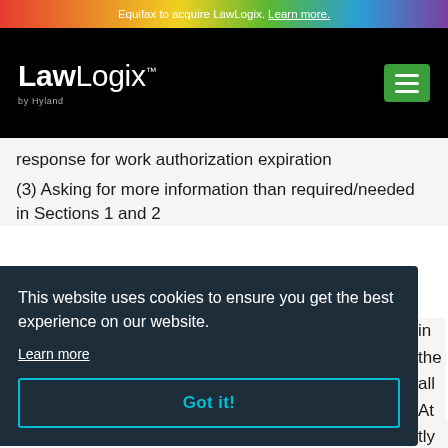Equifax to acquire LawLogix. Learn more.
[Figure (logo): LawLogix by Hyland logo with green hamburger menu button on black background]
response for work authorization expiration
(3) Asking for more information than required/needed in Sections 1 and 2
This website uses cookies to ensure you get the best experience on our website.
Learn more
Got it!
enforce a date in the Section 1 work authorization